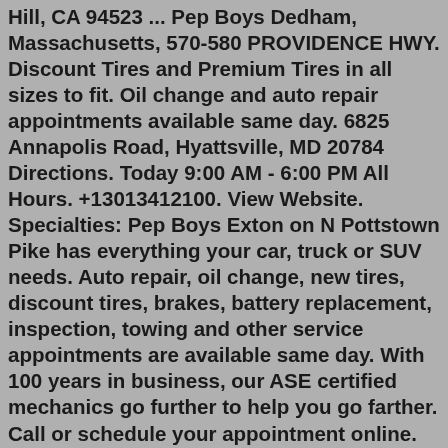Hill, CA 94523 ... Pep Boys Dedham, Massachusetts, 570-580 PROVIDENCE HWY. Discount Tires and Premium Tires in all sizes to fit. Oil change and auto repair appointments available same day. 6825 Annapolis Road, Hyattsville, MD 20784 Directions. Today 9:00 AM - 6:00 PM All Hours. +13013412100. View Website. Specialties: Pep Boys Exton on N Pottstown Pike has everything your car, truck or SUV needs. Auto repair, oil change, new tires, discount tires, brakes, battery replacement, inspection, towing and other service appointments are available same day. With 100 years in business, our ASE certified mechanics go further to help you go farther. Call or schedule your appointment online. Established in ... Choose Pep Boys for your next oil change, set of new tires, or repair service. We believe in doing... 14475 7th St, Victorville, CA 92395 Schedule an Appointment for your installation. ... Pep Boys 2.5 Miles Away Change Installer. Address . 520 Contra Costa Blvd Pleasant Hill, CA 94523 ... Choose Pep Boys for your next oil change, set of new tires, or